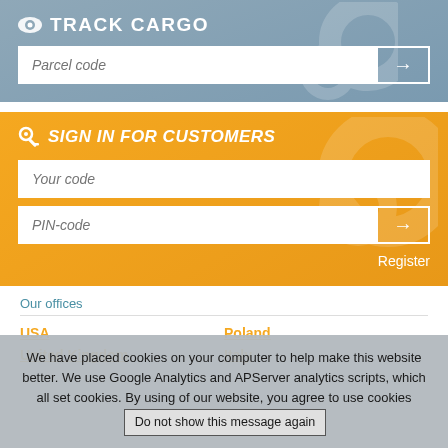TRACK CARGO
[Figure (screenshot): Track cargo input field with parcel code placeholder and arrow button]
SIGN IN FOR CUSTOMERS
[Figure (screenshot): Sign in form with Your code and PIN-code fields, arrow button, and Register link]
Our offices
USA
Poland
United Kingdom
Italy
We have placed cookies on your computer to help make this website better. We use Google Analytics and APServer analytics scripts, which all set cookies. By using of our website, you agree to use cookies
Do not show this message again